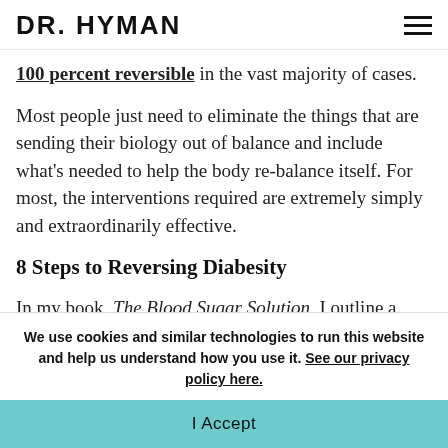DR. HYMAN
100 percent reversible in the vast majority of cases.
Most people just need to eliminate the things that are sending their biology out of balance and include what’s needed to help the body re-balance itself. For most, the interventions required are extremely simply and extraordinarily effective.
8 Steps to Reversing Diabesity
In my book, The Blood Sugar Solution, I outline a
We use cookies and similar technologies to run this website and help us understand how you use it. See our privacy policy here.
I Accept